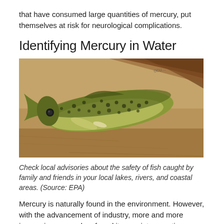that have consumed large quantities of mercury, put themselves at risk for neurological complications.
Identifying Mercury in Water
[Figure (photo): A spotted trout or salmon fish viewed from above, resting on a sandy/rocky riverbed with brown and tan tones. The fish has a yellowish-green body with dark spots.]
Check local advisories about the safety of fish caught by family and friends in your local lakes, rivers, and coastal areas. (Source: EPA)
Mercury is naturally found in the environment. However, with the advancement of industry, more and more inorganic mercury has found its way into aquatic ecosystems through mining as a byproduct of coal-fired power plants and other manufacturing that uses heavy metals. Mercury can also be introduced into water